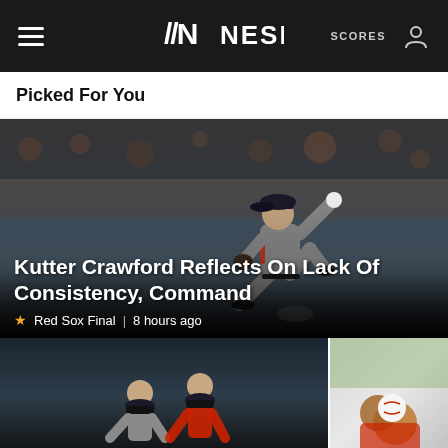NESN — SCORES
Picked For You
[Figure (photo): Baseball pitcher in gray uniform mid-throw at night game with crowd in background]
Kutter Crawford Reflects On Lack Of Consistency, Command
Red Sox Final | 8 hours ago
[Figure (photo): Two baseball players in a mound visit, night game]
[Figure (photo): Baseball player partial crop, daytime game]